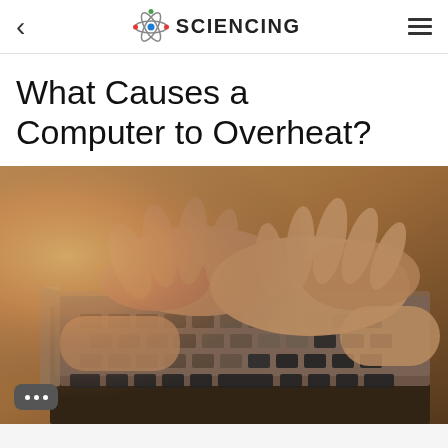SCIENCING
What Causes a Computer to Overheat?
[Figure (photo): Close-up photograph of two hands typing on a laptop keyboard, with warm orange/yellow light flare from upper left. The keyboard keys are visible in shallow depth of field.]